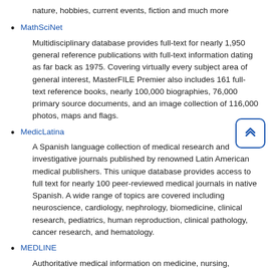nature, hobbies, current events, fiction and much more
MathSciNet
Multidisciplinary database provides full-text for nearly 1,950 general reference publications with full-text information dating as far back as 1975. Covering virtually every subject area of general interest, MasterFILE Premier also includes 161 full-text reference books, nearly 100,000 biographies, 76,000 primary source documents, and an image collection of 116,000 photos, maps and flags.
MedicLatina
A Spanish language collection of medical research and investigative journals published by renowned Latin American medical publishers. This unique database provides access to full text for nearly 100 peer-reviewed medical journals in native Spanish. A wide range of topics are covered including neuroscience, cardiology, nephrology, biomedicine, clinical research, pediatrics, human reproduction, clinical pathology, cancer research, and hematology.
MEDLINE
Authoritative medical information on medicine, nursing, dentistry, veterinary medicine, the health care system, pre-clinical sciences, and much more. Created by the National Library of Medicine, MEDLINE uses (MeSH) indexing with tree numbers, tree hierarchy and explosion